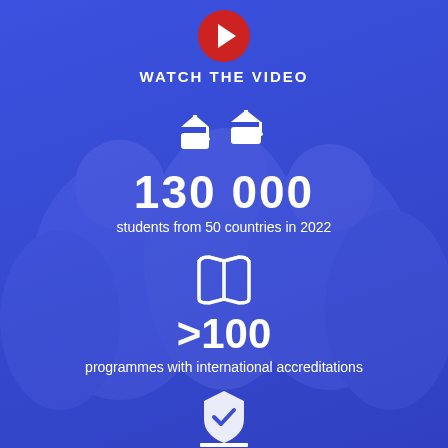[Figure (infographic): Blue background with faded photo of smiling students/graduates]
[Figure (illustration): Red play button icon (YouTube-style)]
WATCH THE VIDEO
[Figure (illustration): Two white graduation cap icons]
130 000
students from 50 countries in 2022
[Figure (illustration): White open book icon]
>100
programmes with international accreditations
[Figure (illustration): White shield/crest icon on a column/pillar icon]